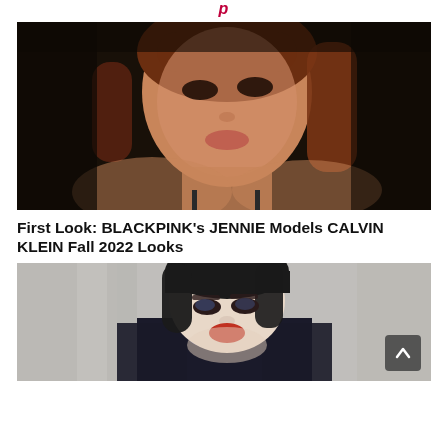[Figure (photo): Close-up portrait photo of BLACKPINK member JENNIE against a dark background, wearing a black spaghetti-strap top, with auburn hair, looking toward the camera with a soft expression.]
First Look: BLACKPINK's JENNIE Models CALVIN KLEIN Fall 2022 Looks
[Figure (photo): Fashion editorial photo of a model with black bangs wearing a dark blazer with a colorful scarf/collar, against a grey curtain backdrop.]